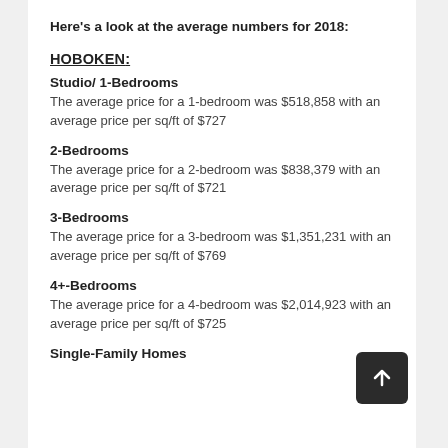Here's a look at the average numbers for 2018:
HOBOKEN:
Studio/ 1-Bedrooms
The average price for a 1-bedroom was $518,858 with an average price per sq/ft of $727
2-Bedrooms
The average price for a 2-bedroom was $838,379 with an average price per sq/ft of $721
3-Bedrooms
The average price for a 3-bedroom was $1,351,231 with an average price per sq/ft of $769
4+-Bedrooms
The average price for a 4-bedroom was $2,014,923 with an average price per sq/ft of $725
Single-Family Homes